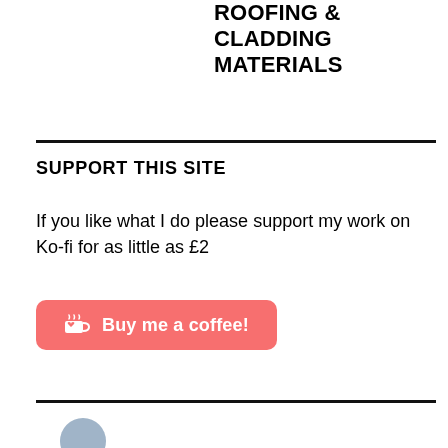ROOFING & CLADDING MATERIALS
SUPPORT THIS SITE
If you like what I do please support my work on Ko-fi for as little as £2
[Figure (other): Ko-fi donation button with heart/cup icon reading 'Buy me a coffee!']